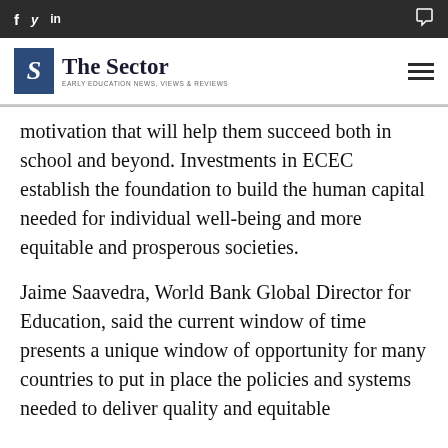f  y  in  [comment icon]
[Figure (logo): The Sector logo — blue box with S, text 'The Sector', subtitle 'EARLY EDUCATION NEWS, VIEWS & REVIEWS']
motivation that will help them succeed both in school and beyond. Investments in ECEC establish the foundation to build the human capital needed for individual well-being and more equitable and prosperous societies.
Jaime Saavedra, World Bank Global Director for Education, said the current window of time presents a unique window of opportunity for many countries to put in place the policies and systems needed to deliver quality and equitable